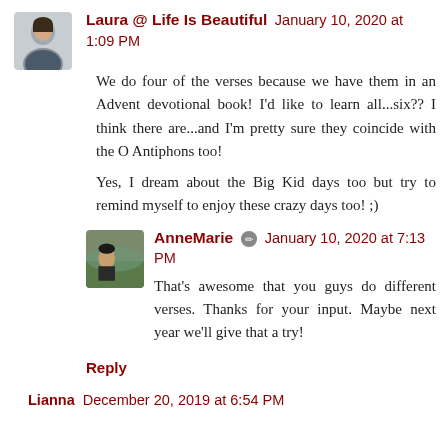Laura @ Life Is Beautiful  January 10, 2020 at 1:09 PM
We do four of the verses because we have them in an Advent devotional book! I'd like to learn all...six??  I think there are...and I'm pretty sure they coincide with the O Antiphons too!
Yes, I dream about the Big Kid days too but try to remind myself to enjoy these crazy days too! ;)
AnneMarie  January 10, 2020 at 7:13 PM
That's awesome that you guys do different verses. Thanks for your input. Maybe next year we'll give that a try!
Reply
Lianna  December 20, 2019 at 6:54 PM